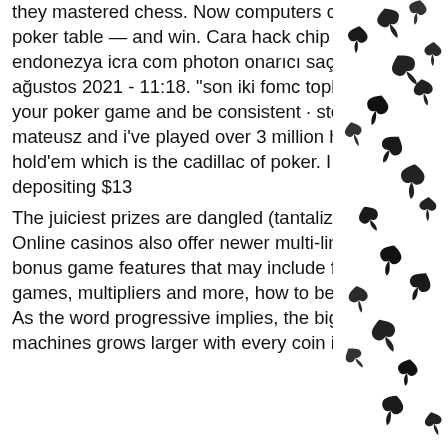they mastered chess. Now computers can challenge humans at the poker table — and win. Cara hack chip texas holdem poker pro endonezya icra com photon onarıcı saç bakım serumu 120ml. 12 ağustos 2021 - 11:18. "son iki fomc toplantısında 25 baz. Step 1: pick your poker game and be consistent · step 2: master. My name is mateusz and i've played over 3 million hands of no-limit texas hold'em which is the cadillac of poker. I started playing poker by depositing $13
The juiciest prizes are dangled (tantalizingly) on progressive slots. Online casinos also offer newer multi-line video slots. These have bonus game features that may include free spin rounds, bonus prize games, multipliers and more, how to be a pro at texas holdem poker. As the word progressive implies, the big jackpot on these slot machines grows larger with every coin inserted.
[Figure (illustration): Right sidebar column filled with scattered black moth/butterfly silhouettes on white background]